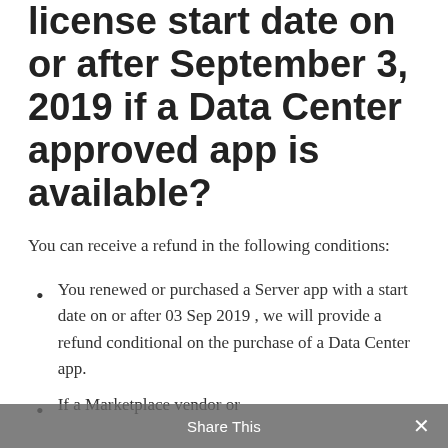license start date on or after September 3, 2019 if a Data Center approved app is available?
You can receive a refund in the following conditions:
You renewed or purchased a Server app with a start date on or after 03 Sep 2019 , we will provide a refund conditional on the purchase of a Data Center app.
If a Marketplace vendor or introduces a Data Center...
Share This ×